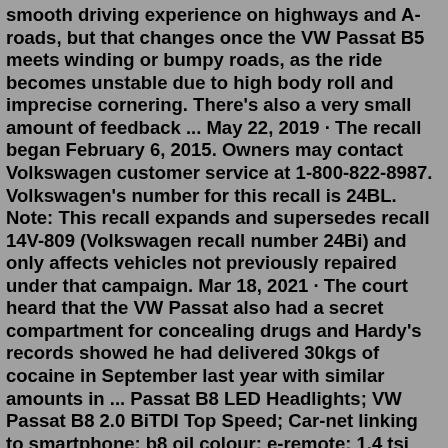smooth driving experience on highways and A-roads, but that changes once the VW Passat B5 meets winding or bumpy roads, as the ride becomes unstable due to high body roll and imprecise cornering. There's also a very small amount of feedback ... May 22, 2019 · The recall began February 6, 2015. Owners may contact Volkswagen customer service at 1-800-822-8987. Volkswagen's number for this recall is 24BL. Note: This recall expands and supersedes recall 14V-809 (Volkswagen recall number 24Bi) and only affects vehicles not previously repaired under that campaign. Mar 18, 2021 · The court heard that the VW Passat also had a secret compartment for concealing drugs and Hardy's records showed he had delivered 30kgs of cocaine in September last year with similar amounts in ... Passat B8 LED Headlights; VW Passat B8 2.0 BiTDI Top Speed; Car-net linking to smartphone; b8 oil colour; e-remote; 1.4 tsi act, manual gearbox hard shifting; Passat estate wheels. Engine cooling fan running after I stop the engine after a journey; cold engine big hill; Passat B8